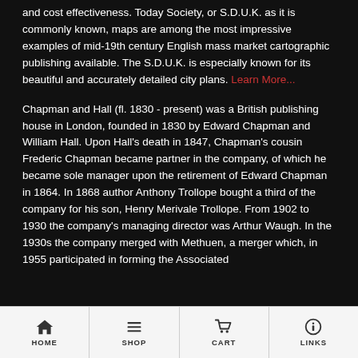and cost effectiveness. Today Society, or S.D.U.K. as it is commonly known, maps are among the most impressive examples of mid-19th century English mass market cartographic publishing available. The S.D.U.K. is especially known for its beautiful and accurately detailed city plans. Learn More...
Chapman and Hall (fl. 1830 - present) was a British publishing house in London, founded in 1830 by Edward Chapman and William Hall. Upon Hall's death in 1847, Chapman's cousin Frederic Chapman became partner in the company, of which he became sole manager upon the retirement of Edward Chapman in 1864. In 1868 author Anthony Trollope bought a third of the company for his son, Henry Merivale Trollope. From 1902 to 1930 the company's managing director was Arthur Waugh. In the 1930s the company merged with Methuen, a merger which, in 1955 participated in forming the Associated
HOME  SHOP  CART  LINKS